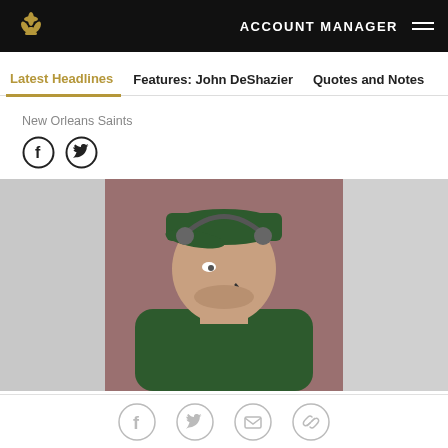ACCOUNT MANAGER
Latest Headlines | Features: John DeShazier | Quotes and Notes
New Orleans Saints
[Figure (photo): Football coach wearing green cap and headset, looking upward, dressed in green jacket]
Social share icons: Facebook, Twitter, Email, Link